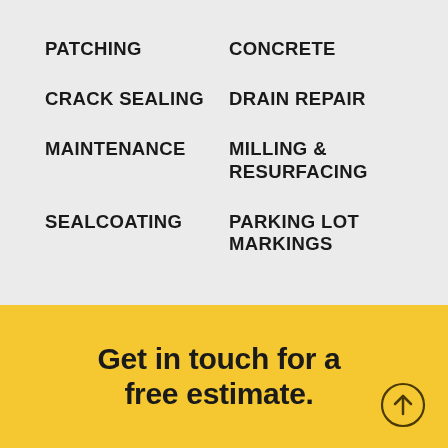PATCHING
CONCRETE
CRACK SEALING
DRAIN REPAIR
MAINTENANCE
MILLING & RESURFACING
SEALCOATING
PARKING LOT MARKINGS
Get in touch for a free estimate.